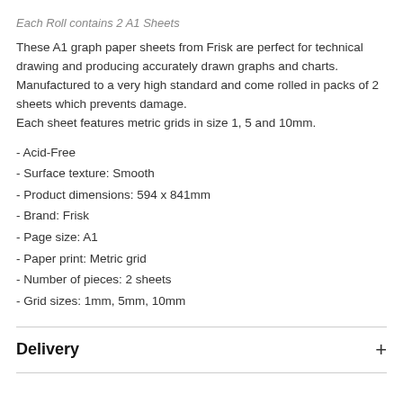Each Roll contains 2 A1 Sheets
These A1 graph paper sheets from Frisk are perfect for technical drawing and producing accurately drawn graphs and charts. Manufactured to a very high standard and come rolled in packs of 2 sheets which prevents damage.
Each sheet features metric grids in size 1, 5 and 10mm.
- Acid-Free
- Surface texture: Smooth
- Product dimensions: 594 x 841mm
- Brand: Frisk
- Page size: A1
- Paper print: Metric grid
- Number of pieces: 2 sheets
- Grid sizes: 1mm, 5mm, 10mm
Delivery